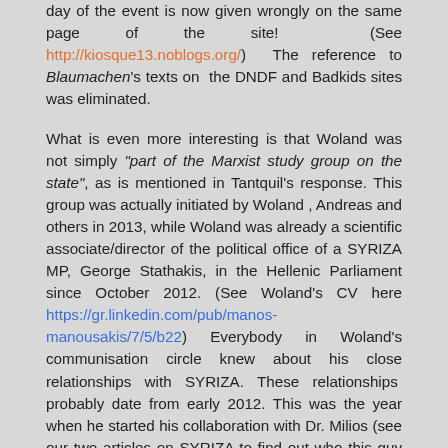day of the event is now given wrongly on the same page of the site! (See http://kiosque13.noblogs.org/) The reference to Blaumachen's texts on the DNDF and Badkids sites was eliminated.
What is even more interesting is that Woland was not simply "part of the Marxist study group on the state", as is mentioned in Tantquil's response. This group was actually initiated by Woland , Andreas and others in 2013, while Woland was already a scientific associate/director of the political office of a SYRIZA MP, George Stathakis, in the Hellenic Parliament since October 2012. (See Woland's CV here https://gr.linkedin.com/pub/manos-manousakis/7/5/b22) Everybody in Woland's communisation circle knew about his close relationships with SYRIZA. These relationships probably date from early 2012. This was the year when he started his collaboration with Dr. Milios (see our two articles on SYRIZA to find out who this guy is). Before the elections of May 2012 Woland was trying to persuade his close friends in the anti-authoritarian milieu to vote for SYRIZA. His close relationships with the party were not only known to "comrade Andreas" and the other members of Blaumachen/Sic living in Greece and